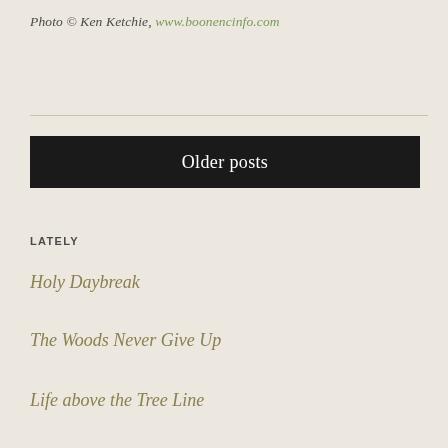Photo © Ken Ketchie, www.boonencinfo.com
Older posts
LATELY
Holy Daybreak
The Woods Never Give Up
Life above the Tree Line